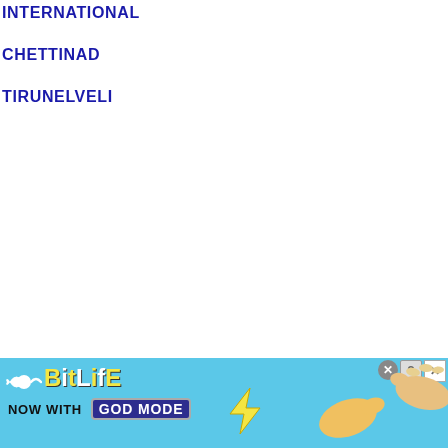INTERNATIONAL
CHETTINAD
TIRUNELVELI
[Figure (screenshot): BitLife advertisement banner with light blue background showing BitLife logo, 'NOW WITH GOD MODE' text with lightning bolt graphic, and cartoon hand illustrations on the right side with close/X buttons in the top right corner.]